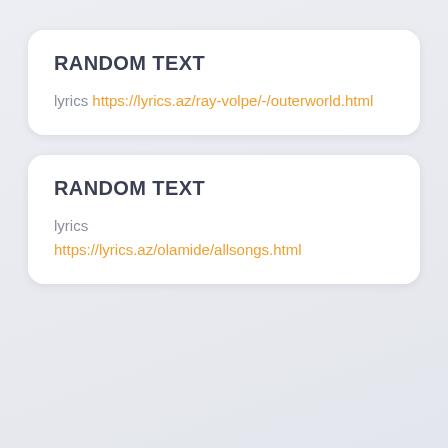RANDOM TEXT
lyrics https://lyrics.az/ray-volpe/-/outerworld.html
RANDOM TEXT
lyrics https://lyrics.az/olamide/allsongs.html